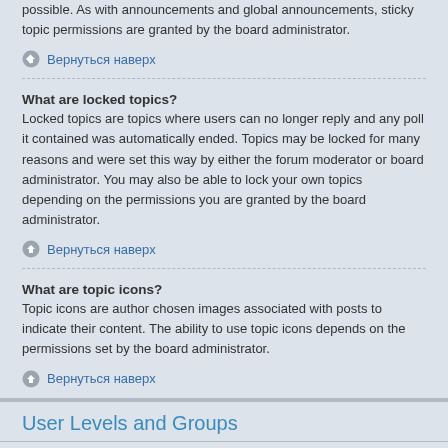possible. As with announcements and global announcements, sticky topic permissions are granted by the board administrator.
Вернуться наверх
What are locked topics?
Locked topics are topics where users can no longer reply and any poll it contained was automatically ended. Topics may be locked for many reasons and were set this way by either the forum moderator or board administrator. You may also be able to lock your own topics depending on the permissions you are granted by the board administrator.
Вернуться наверх
What are topic icons?
Topic icons are author chosen images associated with posts to indicate their content. The ability to use topic icons depends on the permissions set by the board administrator.
Вернуться наверх
User Levels and Groups
What are Administrators?
Administrators are members assigned with the highest level of control over the entire board. These members can control all facets of board operation, including